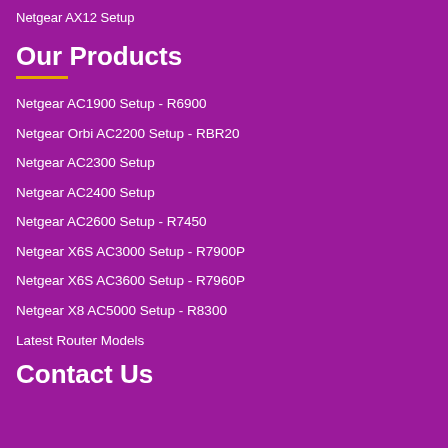Netgear AX12 Setup
Our Products
Netgear AC1900 Setup - R6900
Netgear Orbi AC2200 Setup - RBR20
Netgear AC2300 Setup
Netgear AC2400 Setup
Netgear AC2600 Setup - R7450
Netgear X6S AC3000 Setup - R7900P
Netgear X6S AC3600 Setup - R7960P
Netgear X8 AC5000 Setup - R8300
Latest Router Models
Contact Us